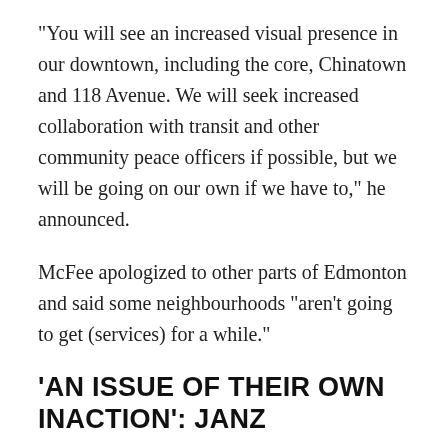“You will see an increased visual presence in our downtown, including the core, Chinatown and 118 Avenue. We will seek increased collaboration with transit and other community peace officers if possible, but we will be going on our own if we have to,” he announced.
McFee apologized to other parts of Edmonton and said some neighbourhoods "aren't going to get (services) for a while."
'AN ISSUE OF THEIR OWN INACTION': JANZ
On Wednesday, Edmonton city councillors moved forward on freezing base funding for police, a move the commission chair said would amount to a $22 million cut.